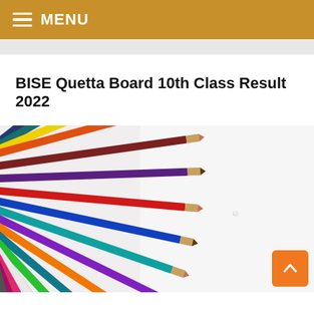MENU
BISE Quetta Board 10th Class Result 2022
[Figure (photo): Colorful pencils arranged fan-like on the left side against a white/light gray background]